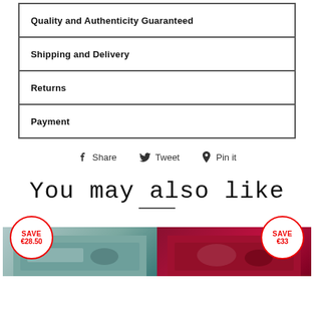| Quality and Authenticity Guaranteed |
| Shipping and Delivery |
| Returns |
| Payment |
f Share   Twitter Tweet   Pinterest Pin it
You may also like
[Figure (other): Two product cards with SAVE badges. Left card: SAVE €28.50 badge with teal/blue product image. Right card: SAVE €33 badge with red/burgundy product image.]